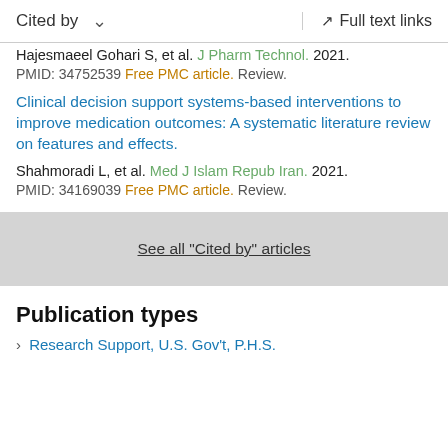Cited by   ∨   Full text links
Hajesmaeel Gohari S, et al. J Pharm Technol. 2021.
PMID: 34752539 Free PMC article. Review.
Clinical decision support systems-based interventions to improve medication outcomes: A systematic literature review on features and effects.
Shahmoradi L, et al. Med J Islam Repub Iran. 2021.
PMID: 34169039 Free PMC article. Review.
See all "Cited by" articles
Publication types
› Research Support, U.S. Gov't, P.H.S.